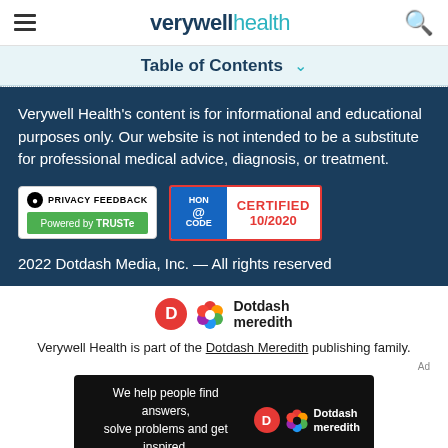verywell health
Table of Contents
Verywell Health's content is for informational and educational purposes only. Our website is not intended to be a substitute for professional medical advice, diagnosis, or treatment.
[Figure (logo): Privacy Feedback badge powered by TRUSTe and HONcode Certified 10/2020 badge]
2022 Dotdash Media, Inc. — All rights reserved
[Figure (logo): Dotdash Meredith logo with orange D circle and colorful flower icon]
Verywell Health is part of the Dotdash Meredith publishing family.
[Figure (infographic): Dotdash Meredith ad banner: We help people find answers, solve problems and get inspired.]